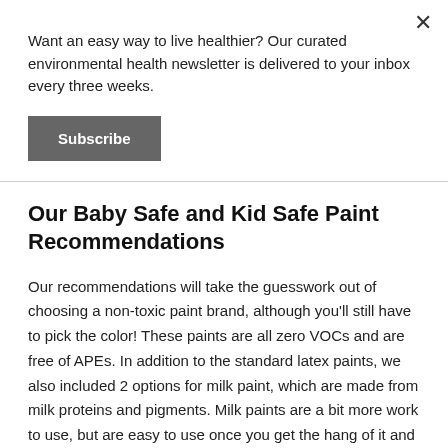Want an easy way to live healthier? Our curated environmental health newsletter is delivered to your inbox every three weeks.
Subscribe
Our Baby Safe and Kid Safe Paint Recommendations
Our recommendations will take the guesswork out of choosing a non-toxic paint brand, although you'll still have to pick the color! These paints are all zero VOCs and are free of APEs. In addition to the standard latex paints, we also included 2 options for milk paint, which are made from milk proteins and pigments. Milk paints are a bit more work to use, but are easy to use once you get the hang of it and you can create antique or